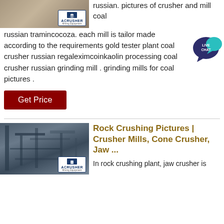[Figure (photo): Photo of mining/rock area with ACRUSHER Mining Equipment logo badge]
russian. pictures of crusher and mill coal russian tramincocoza. each mill is tailor made according to the requirements gold tester plant coal crusher russian regaleximcoinkaolin processing coal crusher russian grinding mill . grinding mills for coal pictures .
[Figure (logo): LIVE CHAT speech bubble icon in teal/dark blue]
Get Price
[Figure (photo): Industrial rock crushing plant machinery photo with ACRUSHER Mining Equipment logo badge]
Rock Crushing Pictures | Crusher Mills, Cone Crusher, Jaw ...
In rock crushing plant, jaw crusher is